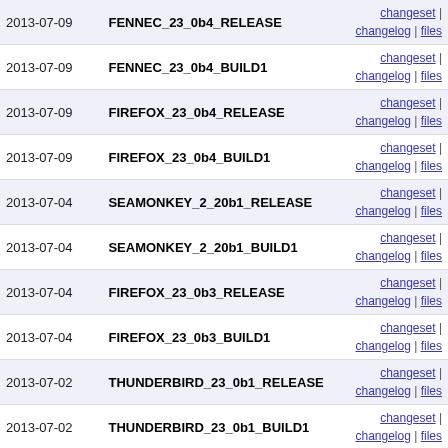| Date | Tag | Links |
| --- | --- | --- |
| 2013-07-09 | FENNEC_23_0b4_RELEASE | changeset | changelog | files |
| 2013-07-09 | FENNEC_23_0b4_BUILD1 | changeset | changelog | files |
| 2013-07-09 | FIREFOX_23_0b4_RELEASE | changeset | changelog | files |
| 2013-07-09 | FIREFOX_23_0b4_BUILD1 | changeset | changelog | files |
| 2013-07-04 | SEAMONKEY_2_20b1_RELEASE | changeset | changelog | files |
| 2013-07-04 | SEAMONKEY_2_20b1_BUILD1 | changeset | changelog | files |
| 2013-07-04 | FIREFOX_23_0b3_RELEASE | changeset | changelog | files |
| 2013-07-04 | FIREFOX_23_0b3_BUILD1 | changeset | changelog | files |
| 2013-07-02 | THUNDERBIRD_23_0b1_RELEASE | changeset | changelog | files |
| 2013-07-02 | THUNDERBIRD_23_0b1_BUILD1 | changeset | changelog | files |
| 2013-07-01 | FIREFOX_23_0b2_RELEASE | changeset | changelog | files |
| 2013-07-01 | FIREFOX_23_0b2_BUILD1 | changeset | changelog | files |
| 2013-07-01 | FENNEC_23_0b2_RELEASE | changeset | changelog | files |
| 2013-07-01 | FENNEC_23_0b2_BUILD1 | changeset | changelog | files |
| 2013-06-25 | FENNEC_23_0b1_RELEASE | changeset | changelog | files |
| 2013-06-25 | FENNEC_23_0b1_BUILD1 | changeset | changelog | files |
| 2013-06-25 | FIREFOX_23_0b1_RELEASE | changeset | changelog | files |
| 2013-06-25 | FIREFOX_23_0b1_BUILD1 | changeset | changelog | files |